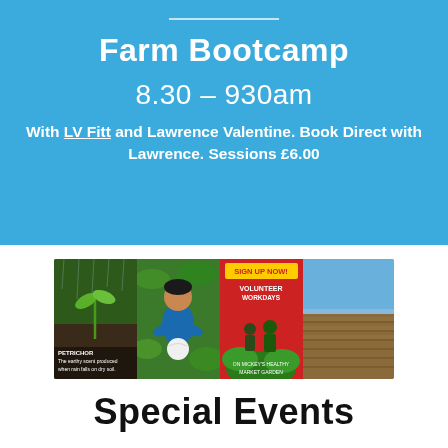Farm Bootcamp
8.30 – 930am
With LV Fitt and Lawrence Valentine. Book Direct with Lawrence. Sessions £6.00
[Figure (photo): Four-panel photo strip: a seedling in rain with 'PETRICHOR – The earthy scent produced when rain falls on dry soil'; a child holding a white ball among green plants; a red background volunteer sign-up poster reading 'SIGN UP NOW! VOLUNTEER WORKDAYS'; a ploughed field under blue sky.]
Special Events